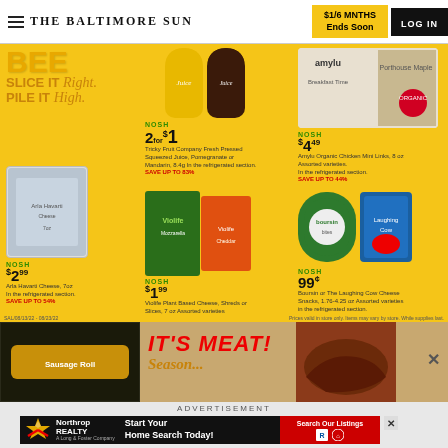THE BALTIMORE SUN | $1/6 MNTHS Ends Soon | LOG IN
[Figure (infographic): NOSH grocery deals advertisement on yellow background. Products include: Deli/BEEF 'SLICE IT Right. PILE IT High.' section; Tricky Fruit Company Fresh Pressed Squeezed Juice 2 for $1 SAVE UP TO 83%; Amylu Organic Chicken Mini Links $4.49 SAVE UP TO 44%; Arla Havarti Cheese 7oz $2.99 SAVE UP TO 54%; Violife Plant Based Cheese Shreds or Slices 7oz $1.99 SAVE UP TO 67%; Boursin or The Laughing Cow Cheese Snacks 1.76-4.25 oz 99¢ SAVE UP TO 84%]
Prices valid in store only. Items may vary by store. While supplies last.
[Figure (infographic): IT'S MEAT! advertisement banner on tan background with meat product image on left and grilled steak on right. Close X button visible.]
ADVERTISEMENT
[Figure (infographic): Northrop Realty advertisement: Start Your Home Search Today! Search Our Listings button. A Long & Foster Company.]